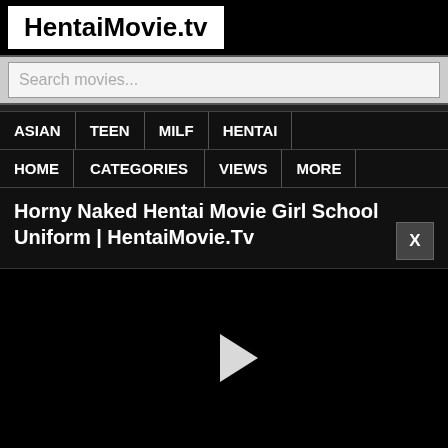HentaiMovie.tv
Search movies...
ASIAN | TEEN | MILF | HENTAI
HOME | CATEGORIES | VIEWS | MORE
Horny Naked Hentai Movie Girl School Uniform | HentaiMovie.Tv
[Figure (other): Video player area showing a black screen with a white play button triangle in the center]